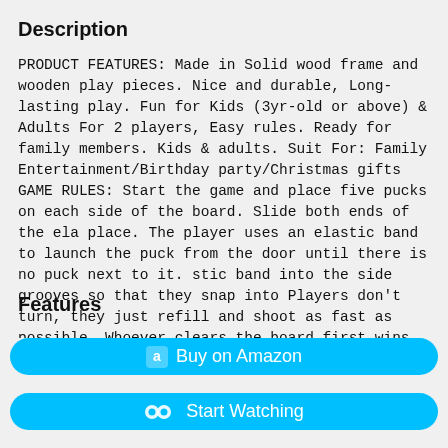Description
PRODUCT FEATURES: Made in Solid wood frame and wooden play pieces. Nice and durable, Long-lasting play. Fun for Kids (3yr-old or above) & Adults For 2 players, Easy rules. Ready for family members. Kids & adults. Suit For: Family Entertainment/Birthday party/Christmas gifts GAME RULES: Start the game and place five pucks on each side of the board. Slide both ends of the ela place. The player uses an elastic band to launch the puck from the door until there is no puck next to it. stic band into the side grooves so that they snap into Players don't turn, they just refill and shoot as fast as possible. Whoever clears the board first wins. Order this board game home and get rid of all your pucks as fast as you can!
Features
Buy on Amazon
Start Watching